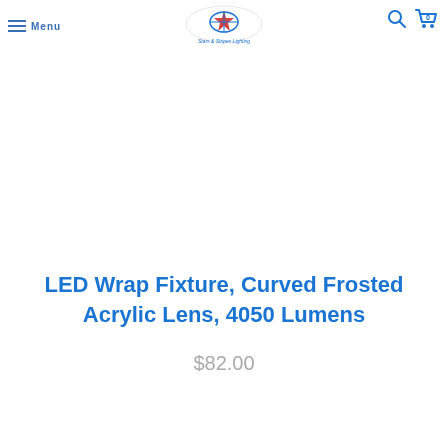Menu | Stars & Stripes Lighting
[Figure (logo): Stars & Stripes Lighting logo — oval shape with star and compass design, text 'Stars & Stripes Lighting' below]
LED Wrap Fixture, Curved Frosted Acrylic Lens, 4050 Lumens
$82.00